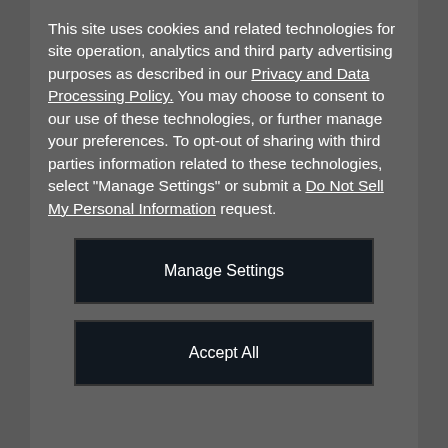This site uses cookies and related technologies for site operation, analytics and third party advertising purposes as described in our Privacy and Data Processing Policy. You may choose to consent to our use of these technologies, or further manage your preferences. To opt-out of sharing with third parties information related to these technologies, select "Manage Settings" or submit a Do Not Sell My Personal Information request.
Manage Settings
Accept All